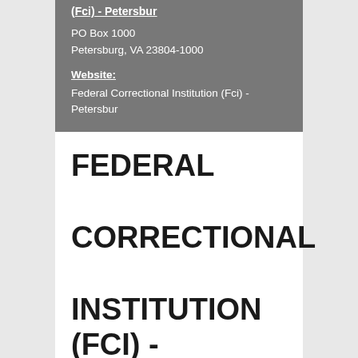(Fci) - Petersbur
PO Box 1000
Petersburg, VA 23804-1000
Website:
Federal Correctional Institution (Fci) - Petersbur
FEDERAL CORRECTIONAL INSTITUTION (FCI) - PETERSBUR
Prisoners sentenced in Petersburg City county are generally sent to Federal Correctional Institution (fci) - Petersbur in the city of Petersburg,